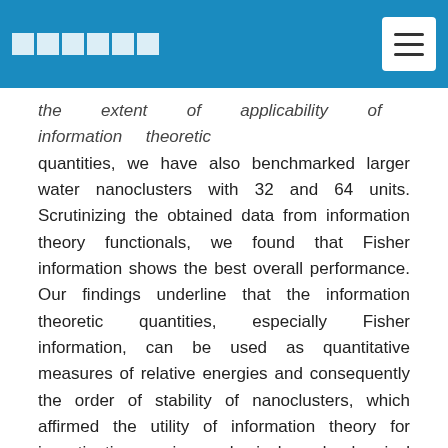■■■■■■ [logo squares] [hamburger menu]
the extent of applicability of information theoretic quantities, we have also benchmarked larger water nanoclusters with 32 and 64 units. Scrutinizing the obtained data from information theory functionals, we found that Fisher information shows the best overall performance. Our findings underline that the information theoretic quantities, especially Fisher information, can be used as quantitative measures of relative energies and consequently the order of stability of nanoclusters, which affirmed the utility of information theory for investigating various physical and chemical problems.
关键词: Information theory, Fisher information, Shannon entropy, Onicescu information energy, Ghosh-Berkowitz-Parr entropy, Water nanocluster, Steric effect
Abstract: